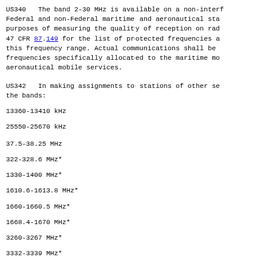US340   The band 2-30 MHz is available on a non-interf Federal and non-Federal maritime and aeronautical sta purposes of measuring the quality of reception on rad 47 CFR 87.149 for the list of protected frequencies a this frequency range. Actual communications shall be frequencies specifically allocated to the maritime mob aeronautical mobile services.
US342   In making assignments to stations of other se the bands:
13360-13410 kHz
25550-25670 kHz
37.5-38.25 MHz
322-328.6 MHz*
1330-1400 MHz*
1610.6-1613.8 MHz*
1660-1660.5 MHz*
1668.4-1670 MHz*
3260-3267 MHz*
3332-3339 MHz*